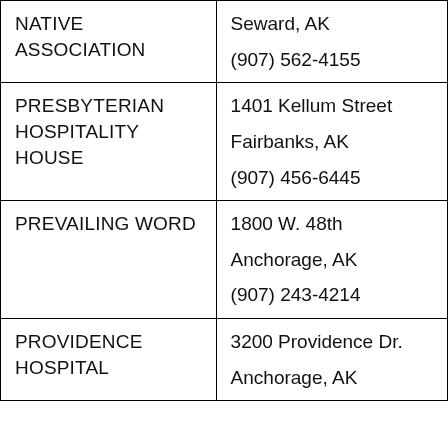| Organization | Address |
| --- | --- |
| NATIVE ASSOCIATION | Seward, AK
(907) 562-4155 |
| PRESBYTERIAN HOSPITALITY HOUSE | 1401 Kellum Street
Fairbanks, AK
(907) 456-6445 |
| PREVAILING WORD | 1800 W. 48th
Anchorage, AK
(907) 243-4214 |
| PROVIDENCE HOSPITAL | 3200 Providence Dr.
Anchorage, AK |